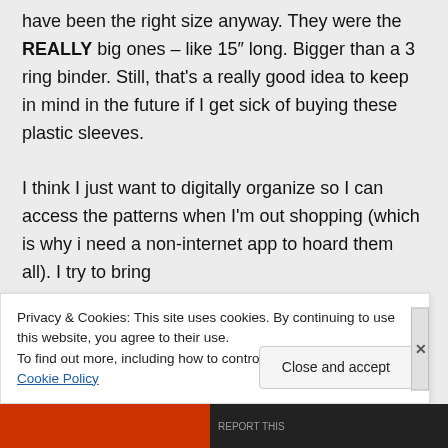have been the right size anyway. They were the REALLY big ones – like 15" long. Bigger than a 3 ring binder. Still, that's a really good idea to keep in mind in the future if I get sick of buying these plastic sleeves.

I think I just want to digitally organize so I can access the patterns when I'm out shopping (which is why i need a non-internet app to hoard them all). I try to bring
Privacy & Cookies: This site uses cookies. By continuing to use this website, you agree to their use.
To find out more, including how to control cookies, see here: Cookie Policy